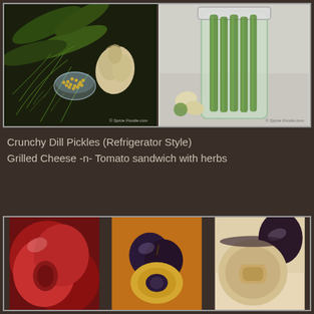[Figure (photo): Two food photos side by side: left shows cucumbers, dill, mustard seeds in a bowl, and garlic on dark background (© Spicie Foodie.com); right shows a jar of pickled cucumber spears (© Spicie Foodie.com)]
Crunchy Dill Pickles (Refrigerator Style)
Grilled Cheese -n- Tomato sandwich with herbs
[Figure (photo): Three food photos side by side: left shows sliced red plums; center shows dark plums with one cut open showing yellow flesh on orange background; right shows a cut-open plum with pale flesh on light background]